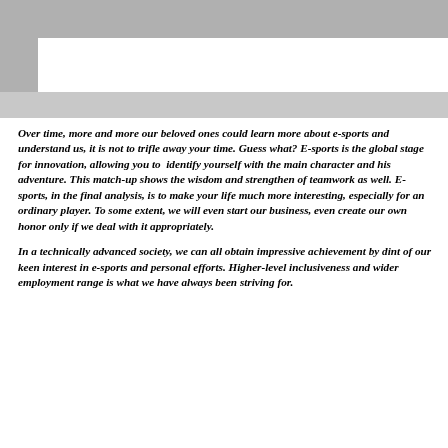[Figure (other): Gray decorative border/corner graphic element in the top portion of the page]
Over time, more and more our beloved ones could learn more about e-sports and understand us, it is not to trifle away your time. Guess what? E-sports is the global stage for innovation, allowing you to identify yourself with the main character and his adventure. This match-up shows the wisdom and strengthen of teamwork as well. E-sports, in the final analysis, is to make your life much more interesting, especially for an ordinary player. To some extent, we will even start our business, even create our own honor only if we deal with it appropriately.
In a technically advanced society, we can all obtain impressive achievement by dint of our keen interest in e-sports and personal efforts. Higher-level inclusiveness and wider employment range is what we have always been striving for.